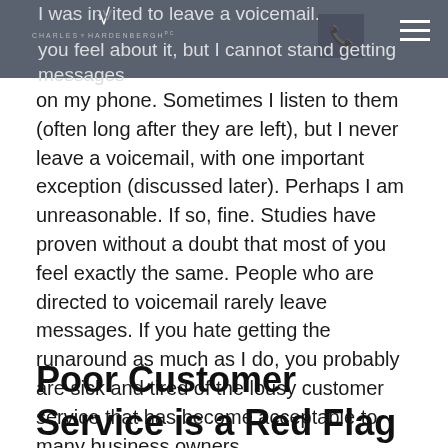CHARLES HARDENBERGH
I was invited to leave a voicemail. I don't know how you feel about it, but I cannot stand getting messages on my phone. Sometimes I listen to them (often long after they are left), but I never leave a voicemail, with one important exception (discussed later). Perhaps I am unreasonable. If so, fine. Studies have proven without a doubt that most of you feel exactly the same. People who are directed to voicemail rarely leave messages. If you hate getting the runaround as much as I do, you probably are sick and tired of the lousy customer service that has become acceptable to many business owners.
Poor Customer Service is a Red Flag